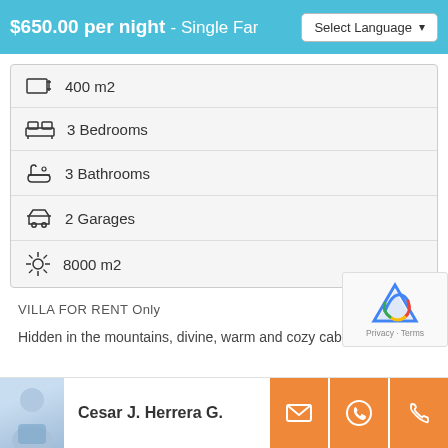$650.00 per night - Single Family Ho  |  Select Language
400 m2
3 Bedrooms
3 Bathrooms
2 Garages
8000 m2
VILLA FOR RENT Only
Hidden in the mountains, divine, warm and cozy cabin.
Cesar J. Herrera G.